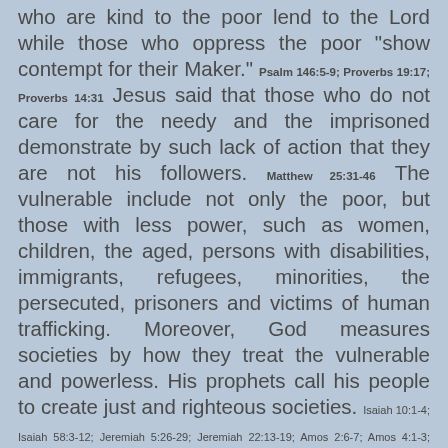who are kind to the poor lend to the Lord while those who oppress the poor “show contempt for their Maker.” Psalm 146:5-9; Proverbs 19:17; Proverbs 14:31 Jesus said that those who do not care for the needy and the imprisoned demonstrate by such lack of action that they are not his followers. Matthew 25:31-46 The vulnerable include not only the poor, but those with less power, such as women, children, the aged, persons with disabilities, immigrants, refugees, minorities, the persecuted, prisoners and victims of human trafficking. Moreover, God measures societies by how they treat the vulnerable and powerless. His prophets call his people to create just and righteous societies. Isaiah 10:1-4; Isaiah 58:3-12; Jeremiah 5:26-29; Jeremiah 22:13-19; Amos 2:6-7; Amos 4:1-3; Amos 5:10-15 The prophetic teaching insists on both a fair legal system, which does not favor either the rich or the poor, and a fair economic system, which does not tolerate perpetual poverty. It also forbids usury and predatory lending that harms the poor. Exodus 22:25; Deuteronomy 15:7-11; Ezekiel 18:7-9 Economic justice includes the elimination of suffering, the creation